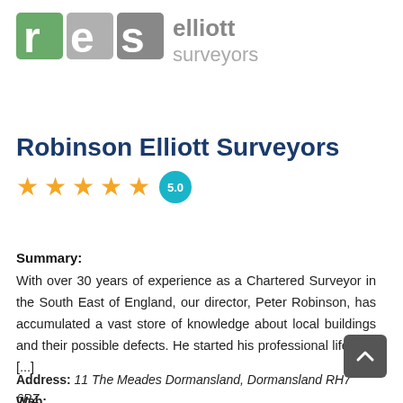[Figure (logo): Robinson Elliott Surveyors logo with stylized 'res' letters in green and grey, and 'elliott surveyors' text in grey]
Robinson Elliott Surveyors
★★★★★ 5.0
Summary: With over 30 years of experience as a Chartered Surveyor in the South East of England, our director, Peter Robinson, has accumulated a vast store of knowledge about local buildings and their possible defects. He started his professional life with [...]
Address: 11 The Meades Dormansland, Dormansland RH7 6PZ
Web: